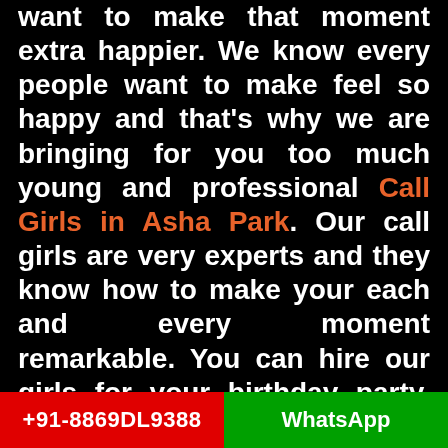want to make that moment extra happier. We know every people want to make feel so happy and that's why we are bringing for you too much young and professional Call Girls in Asha Park. Our call girls are very experts and they know how to make your each and every moment remarkable. You can hire our girls for your birthday party, alone trip, disco night, late-night party, bachelor party, and much more. In these all happier moments, they will show you how you can remember this for a long time. They are very attractive and gorgeous personality women. Our each and every girl are very professional, trained,
+91-8869DL9388  WhatsApp